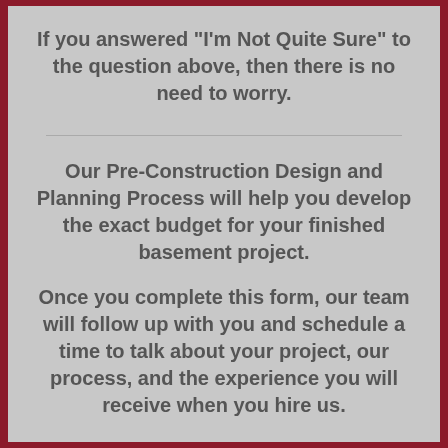If you answered "I'm Not Quite Sure" to the question above, then there is no need to worry.
Our Pre-Construction Design and Planning Process will help you develop the exact budget for your finished basement project.
Once you complete this form, our team will follow up with you and schedule a time to talk about your project, our process, and the experience you will receive when you hire us.